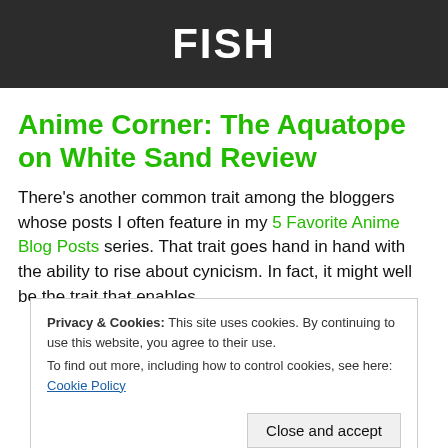FISH
Anime Corner: The Aquatope on White Sand Review
There’s another common trait among the bloggers whose posts I often feature in my 5 Favorite Anime Blog Posts series. That trait goes hand in hand with the ability to rise about cynicism. In fact, it might well be the trait that enables t... b... t... s... t... one another in a healthy and supportive way.
Privacy & Cookies: This site uses cookies. By continuing to use this website, you agree to their use.
To find out more, including how to control cookies, see here: Cookie Policy
Close and accept